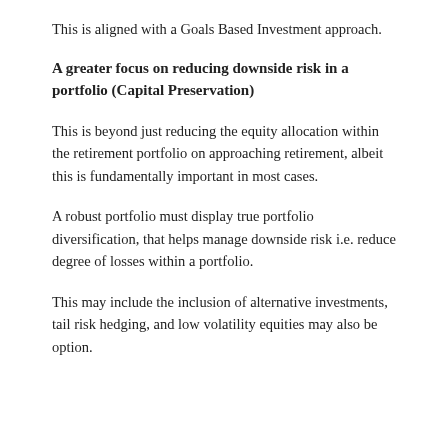This is aligned with a Goals Based Investment approach.
A greater focus on reducing downside risk in a portfolio (Capital Preservation)
This is beyond just reducing the equity allocation within the retirement portfolio on approaching retirement, albeit this is fundamentally important in most cases.
A robust portfolio must display true portfolio diversification, that helps manage downside risk i.e. reduce degree of losses within a portfolio.
This may include the inclusion of alternative investments, tail risk hedging, and low volatility equities may also be option.